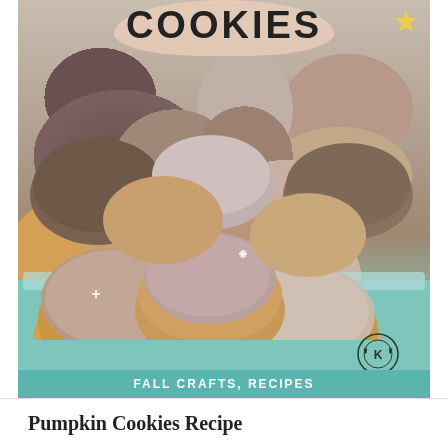COOKIES
[Figure (photo): A teal/mint baking dish filled with pumpkin cookies topped with brown cinnamon glaze/frosting, stacked and arranged together. The cookies are golden-orange with a swirled brown icing on top.]
FALL CRAFTS, RECIPES
Pumpkin Cookies Recipe